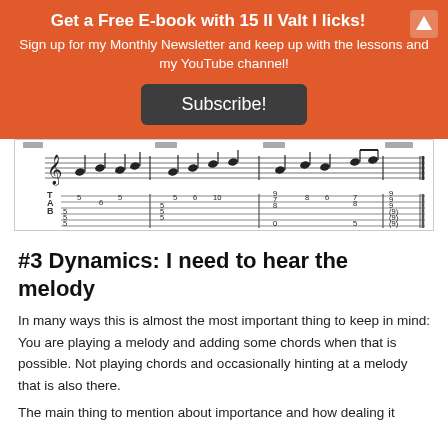Get a Free E-book with 15 II Valt I licks!
Sign up for my Monthly Newsletter and keep up with the lessons and my YouTube channel!
Subscribe!
[Figure (illustration): Guitar tablature and musical notation showing a jazz guitar excerpt with notes and tab numbers]
#3 Dynamics: I need to hear the melody
In many ways this is almost the most important thing to keep in mind: You are playing a melody and adding some chords when that is possible. Not playing chords and occasionally hinting at a melody that is also there.
The main thing to mention about importance and how dealing it